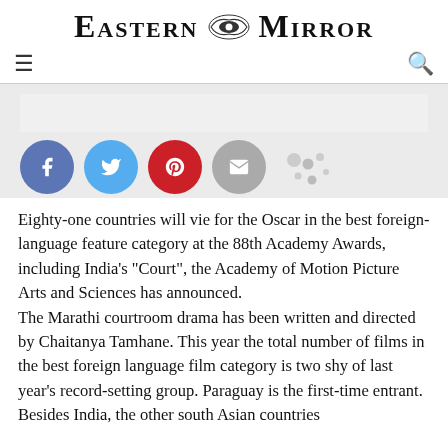Eastern Mirror
[Figure (logo): Eastern Mirror newspaper logo with decorative emblem between the two words]
[Figure (infographic): Social media share icons: Facebook (blue circle with f), Twitter (light blue circle with bird), Pinterest (red circle with P), Email (grey circle with envelope), and decorative dots]
Eighty-one countries will vie for the Oscar in the best foreign-language feature category at the 88th Academy Awards, including India’s “Court”, the Academy of Motion Picture Arts and Sciences has announced. The Marathi courtroom drama has been written and directed by Chaitanya Tamhane. This year the total number of films in the best foreign language film category is two shy of last year’s record-setting group. Paraguay is the first-time entrant. Besides India, the other south Asian countries